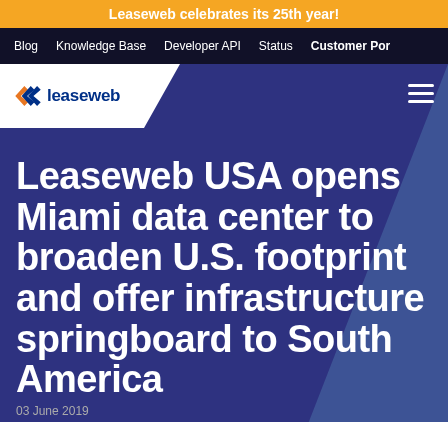Leaseweb celebrates its 25th year!
Blog  Knowledge Base  Developer API  Status  Customer Por
[Figure (logo): Leaseweb logo with chevron icon and wordmark on white background]
Leaseweb USA opens Miami data center to broaden U.S. footprint and offer infrastructure springboard to South America